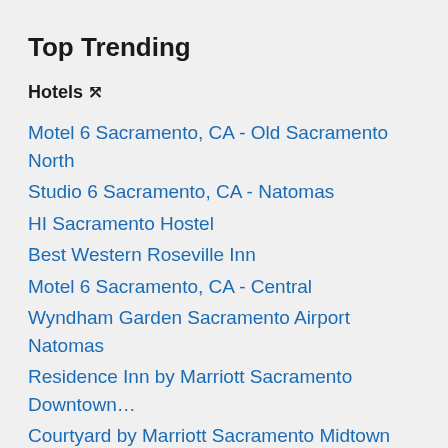Top Trending
Hotels ⇅
Motel 6 Sacramento, CA - Old Sacramento North
Studio 6 Sacramento, CA - Natomas
HI Sacramento Hostel
Best Western Roseville Inn
Motel 6 Sacramento, CA - Central
Wyndham Garden Sacramento Airport Natomas
Residence Inn by Marriott Sacramento Downtown…
Courtyard by Marriott Sacramento Midtown
Delta King Hotel
Fairfield Inn by Marriott Roseville
The Citizen Hotel, Autograph Collection
Four Points by Sheraton Sacramento Internationa…
Holiday Inn Sacramento Downtown-Arena, an IH…
Oasis Inn Sacramento - Elk Grove